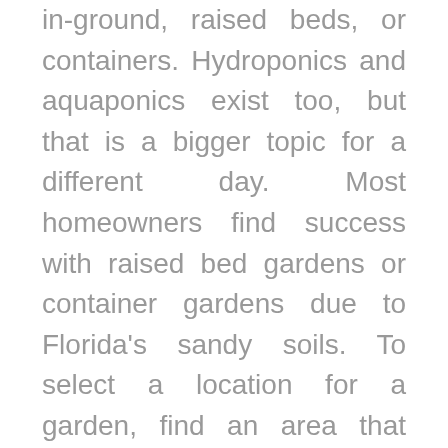in-ground, raised beds, or containers. Hydroponics and aquaponics exist too, but that is a bigger topic for a different day. Most homeowners find success with raised bed gardens or container gardens due to Florida's sandy soils. To select a location for a garden, find an area that gives approximately 6-8 hours of sun, is near a water source, and is away from buildings and trees.

If it is your first-time gardening, start small. Containers are a great first step into gardening or an alternative for anyone living in an apartment, condo, or